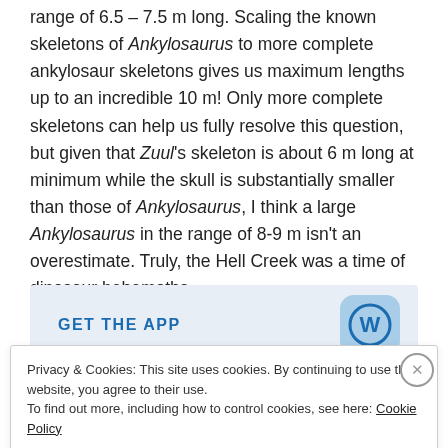range of 6.5 – 7.5 m long. Scaling the known skeletons of Ankylosaurus to more complete ankylosaur skeletons gives us maximum lengths up to an incredible 10 m! Only more complete skeletons can help us fully resolve this question, but given that Zuul's skeleton is about 6 m long at minimum while the skull is substantially smaller than those of Ankylosaurus, I think a large Ankylosaurus in the range of 8-9 m isn't an overestimate. Truly, the Hell Creek was a time of dinosaur behemoths.
[Figure (other): GET THE APP banner with WordPress logo icon]
Privacy & Cookies: This site uses cookies. By continuing to use this website, you agree to their use.
To find out more, including how to control cookies, see here: Cookie Policy

Close and accept